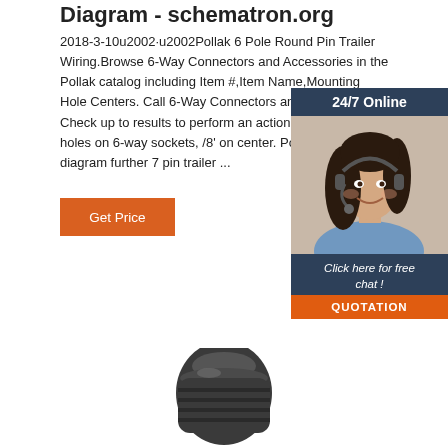Diagram - schematron.org
2018-3-10u2002·u2002Pollak 6 Pole Round Pin Trailer Wiring.Browse 6-Way Connectors and Accessories in the Pollak catalog including Item #,Item Name,Mounting Hole Centers. Call 6-Way Connectors and Accessories: Check up to results to perform an action. Two 1/4' mou holes on 6-way sockets, /8' on center. Poll pin wiring diagram further 7 pin trailer ...
[Figure (photo): Customer service representative woman wearing headset with 24/7 Online chat widget overlay, dark navy header, orange QUOTATION button]
[Figure (photo): Dark metal 6-pole round pin trailer connector plug, close-up view from above]